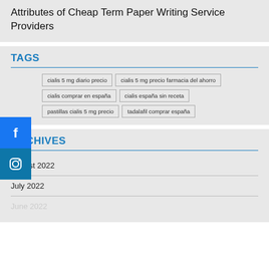Attributes of Cheap Term Paper Writing Service Providers
TAGS
cialis 5 mg diario precio
cialis 5 mg precio farmacia del ahorro
cialis comprar en españa
cialis españa sin receta
pastillas cialis 5 mg precio
tadalafil comprar españa
ARCHIVES
August 2022
July 2022